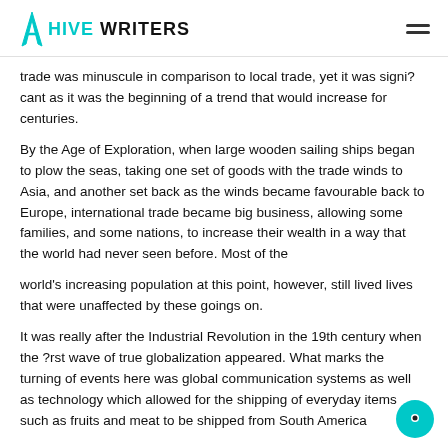HIVE WRITERS
trade was minuscule in comparison to local trade,  yet it was signi?cant as it was the beginning of a trend  that would increase for centuries.
By the Age of Exploration, when large wooden sailing ships began to plow the seas, taking one set of goods with the trade winds to Asia, and another set  back as the winds became favourable back to Europe, international trade became big business, allowing some families, and some nations, to increase their wealth  in a way that the world had never seen before. Most of the
world's increasing population at this point, however, still lived lives that were unaffected by these goings on.
It was really after  the Industrial Revolution in the 19th century  when the ?rst wave of true globalization appeared. What marks the turning of events here was global communication systems as well as technology which allowed  for the shipping of everyday items such  as fruits and meat to be shipped from South  America